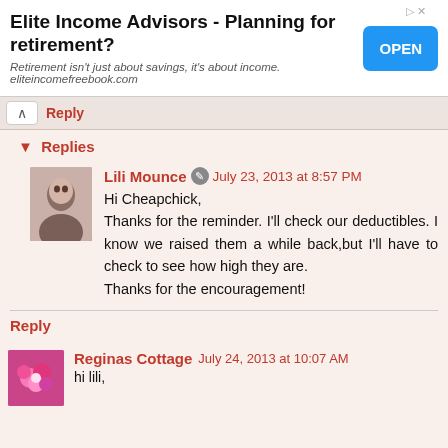[Figure (screenshot): Advertisement banner for Elite Income Advisors with OPEN button]
Reply
▼ Replies
Lili Mounce July 23, 2013 at 8:57 PM
Hi Cheapchick,
Thanks for the reminder. I'll check our deductibles. I know we raised them a while back,but I'll have to check to see how high they are.
Thanks for the encouragement!
Reply
Reginas Cottage July 24, 2013 at 10:07 AM
hi lili,